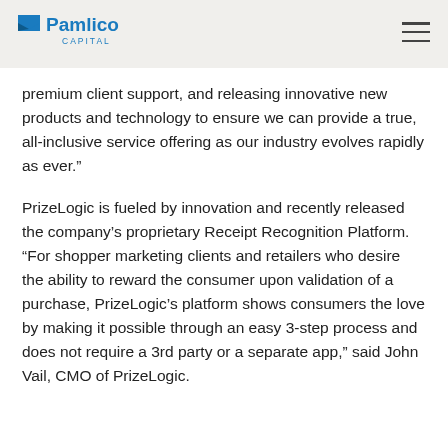Pamlico Capital
premium client support, and releasing innovative new products and technology to ensure we can provide a true, all-inclusive service offering as our industry evolves rapidly as ever.”
PrizeLogic is fueled by innovation and recently released the company’s proprietary Receipt Recognition Platform. “For shopper marketing clients and retailers who desire the ability to reward the consumer upon validation of a purchase, PrizeLogic’s platform shows consumers the love by making it possible through an easy 3-step process and does not require a 3rd party or a separate app,” said John Vail, CMO of PrizeLogic.